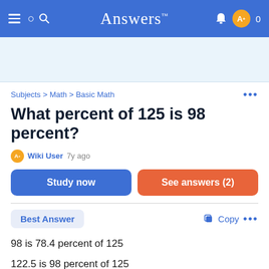Answers
[Figure (other): Advertisement banner area, light blue background]
Subjects > Math > Basic Math
What percent of 125 is 98 percent?
Wiki User 7y ago
Study now
See answers (2)
Best Answer
Copy
98 is 78.4 percent of 125
122.5 is 98 percent of 125